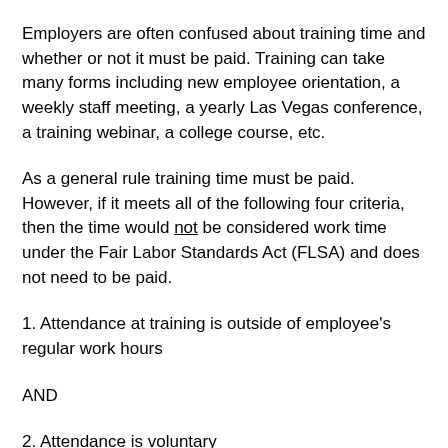Employers are often confused about training time and whether or not it must be paid. Training can take many forms including new employee orientation, a weekly staff meeting, a yearly Las Vegas conference, a training webinar, a college course, etc.
As a general rule training time must be paid. However, if it meets all of the following four criteria, then the time would not be considered work time under the Fair Labor Standards Act (FLSA) and does not need to be paid.
1. Attendance at training is outside of employee's regular work hours
AND
2. Attendance is voluntary